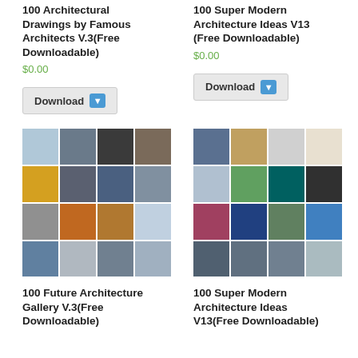100 Architectural Drawings by Famous Architects V.3(Free Downloadable)
$0.00
Download
100 Super Modern Architecture Ideas V13 (Free Downloadable)
$0.00
Download
[Figure (photo): Grid of 16 architectural photos showing futuristic buildings and structures]
[Figure (photo): Grid of 16 architectural photos showing modern architecture]
100 Future Architecture Gallery V.3(Free Downloadable)
100 Super Modern Architecture Ideas V13(Free Downloadable)